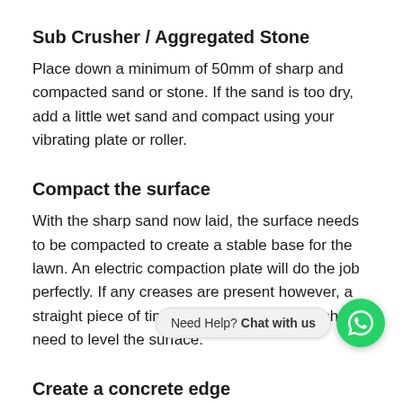Sub Crusher / Aggregated Stone
Place down a minimum of 50mm of sharp and compacted sand or stone. If the sand is too dry, add a little wet sand and compact using your vibrating plate or roller.
Compact the surface
With the sharp sand now laid, the surface needs to be compacted to create a stable base for the lawn. An electric compaction plate will do the job perfectly. If any creases are present however, a straight piece of timber is the only tool you should need to level the surface.
Create a concrete edge
add a mixture of cement a  ol create a 10cm border around the edges of the area.  ensure that the concreteedging is not higher than the final